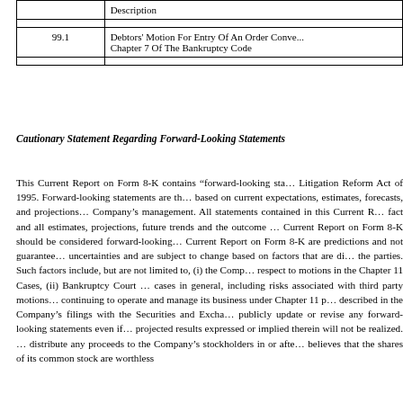|  | Description |
| --- | --- |
|  |  |
| 99.1 | Debtors' Motion For Entry Of An Order Conve...
Chapter 7 Of The Bankruptcy Code |
|  |  |
Cautionary Statement Regarding Forward-Looking Statements
This Current Report on Form 8-K contains "forward-looking statements" within the meaning of the Private Securities Litigation Reform Act of 1995. Forward-looking statements are those that are based on current expectations, estimates, forecasts, and projections of the Company's management. All statements contained in this Current Report on Form 8-K that are not statements of historical fact and all estimates, projections, future trends and the outcome of events that have not yet occurred referenced in this Current Report on Form 8-K should be considered forward-looking statements. Statements made in this Current Report on Form 8-K are predictions and not guarantees of future performance and are subject to risks and uncertainties and are subject to change based on factors that are difficult to predict, including, without limitation, actions taken by the parties. Such factors include, but are not limited to, (i) the Company's ability to obtain Bankruptcy Court approval with respect to motions in the Chapter 11 Cases, (ii) Bankruptcy Court rulings in the Chapter 11 Cases and the outcome of the cases in general, including risks associated with third party motions in the Chapter 11 Cases, (iii) the length of time the Company may be required to continuing to operate and manage its business under Chapter 11 protection and related costs and (iv) other factors as described in the Company's filings with the Securities and Exchange Commission. The Company does not intend to publicly update or revise any forward-looking statements even if experience or future changes make it clear that the projected results expressed or implied therein will not be realized. Furthermore, the Company does not expect to distribute any proceeds to the Company's stockholders in or after the Chapter 11 Cases because the Company believes that the shares of its common stock are worthless